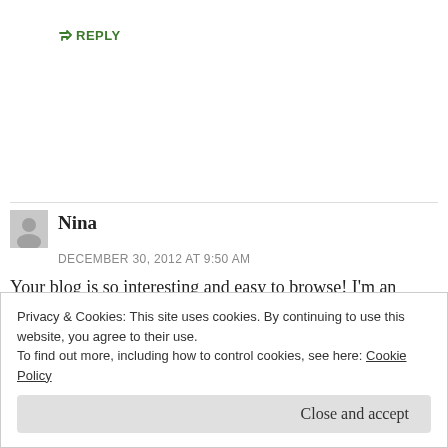↳ REPLY
Nina
DECEMBER 30, 2012 AT 9:50 AM
Your blog is so interesting and easy to browse! I'm an aspiring writer too–I've already found lots of helpful things on your blog. It will definitely be nice to see it...
Privacy & Cookies: This site uses cookies. By continuing to use this website, you agree to their use.
To find out more, including how to control cookies, see here: Cookie Policy
Close and accept